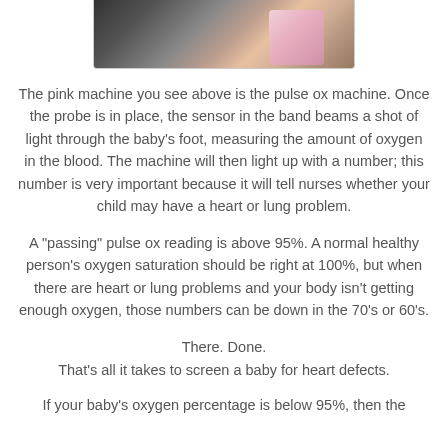[Figure (photo): Partial photo of a pink pulse ox machine being used on a baby's foot, shown from above on a dark background.]
The pink machine you see above is the pulse ox machine. Once the probe is in place, the sensor in the band beams a shot of light through the baby's foot, measuring the amount of oxygen in the blood. The machine will then light up with a number; this number is very important because it will tell nurses whether your child may have a heart or lung problem.
A "passing" pulse ox reading is above 95%. A normal healthy person's oxygen saturation should be right at 100%, but when there are heart or lung problems and your body isn't getting enough oxygen, those numbers can be down in the 70's or 60's.
There. Done.
That's all it takes to screen a baby for heart defects.
If your baby's oxygen percentage is below 95%, then the